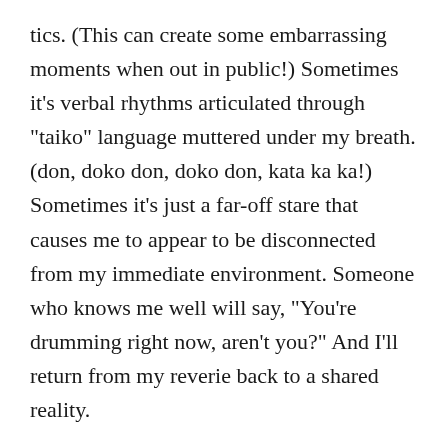tics. (This can create some embarrassing moments when out in public!) Sometimes it’s verbal rhythms articulated through “taiko” language muttered under my breath. (don, doko don, doko don, kata ka ka!) Sometimes it’s just a far-off stare that causes me to appear to be disconnected from my immediate environment. Someone who knows me well will say, “You’re drumming right now, aren’t you?” And I’ll return from my reverie back to a shared reality.
Once when I was coming out of anesthetic from a medical procedure, I started moving my arms and wrists in an odd manner. The observing nurse expressed some concern, commenting that she had never seen that